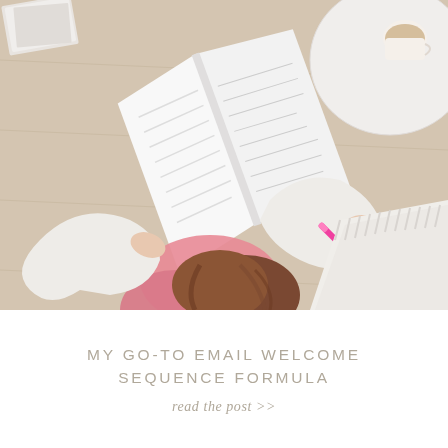[Figure (photo): Overhead view of a woman lying on a wooden floor, wearing a white sweater and pink pants, holding an open book/notebook with a pink pen in her right hand. A white round table with a coffee cup is visible in the upper right. A textured white blanket is in the lower right corner.]
MY GO-TO EMAIL WELCOME SEQUENCE FORMULA
read the post >>